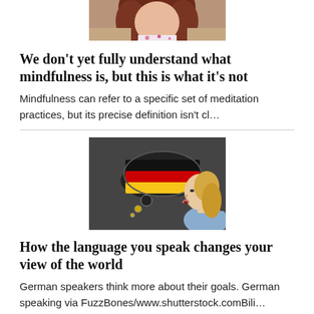[Figure (photo): Partial photo of a woman with dark hair in a floral top, cropped at the top of the page]
We don't yet fully understand what mindfulness is, but this is what it's not
Mindfulness can refer to a specific set of meditation practices, but its precise definition isn't cl…
[Figure (photo): A blonde woman in profile looking at a thought bubble with the German flag (black, red, gold), on a dark grey background]
How the language you speak changes your view of the world
German speakers think more about their goals. German speaking via FuzzBones/www.shutterstock.comBili…